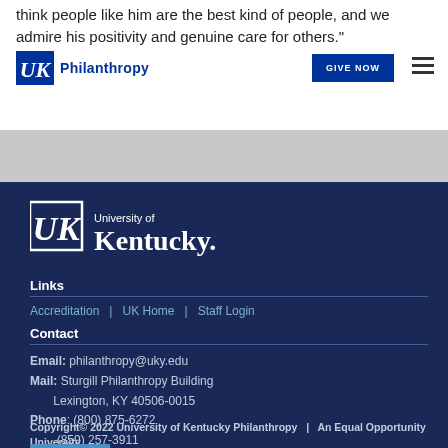think people like him are the best kind of people, and we admire his positivity and genuine care for others."
UK Philanthropy | GIVE NOW
[Figure (logo): University of Kentucky logo with 'University of Kentucky.' text in white on dark blue background]
Links
Accreditation | UK Home | Staff Login
Contact
Email: philanthropy@uky.edu
Mail: Sturgill Philanthropy Building
      Lexington, KY 40506-0015
Phone: (800) 875-6272
       (859) 257-3911
Copyright© 2022 University of Kentucky Philanthropy | An Equal Opportunity University